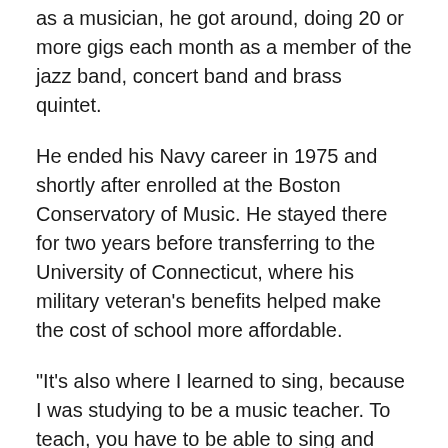as a musician, he got around, doing 20 or more gigs each month as a member of the jazz band, concert band and brass quintet.
He ended his Navy career in 1975 and shortly after enrolled at the Boston Conservatory of Music. He stayed there for two years before transferring to the University of Connecticut, where his military veteran's benefits helped make the cost of school more affordable.
“It’s also where I learned to sing, because I was studying to be a music teacher. To teach, you have to be able to sing and play,” he says.
Following the completion of his undergraduate degree, he took a job in 1980 at Bolton High School in Bolton, CT, where he taught band and chorus.
“It was a very challenging job. It was a small school